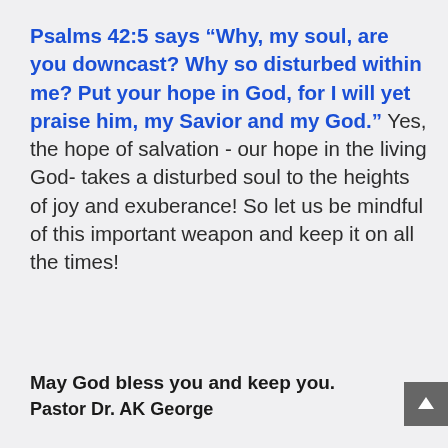Psalms 42:5 says “Why, my soul, are you downcast? Why so disturbed within me? Put your hope in God, for I will yet praise him, my Savior and my God.” Yes, the hope of salvation - our hope in the living God- takes a disturbed soul to the heights of joy and exuberance! So let us be mindful of this important weapon and keep it on all the times!
May God bless you and keep you.
Pastor Dr. AK George